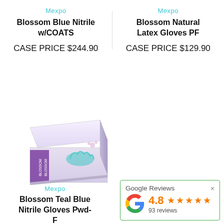Mexpo
Blossom Blue Nitrile w/COATS
CASE PRICE $244.90
Mexpo
Blossom Natural Latex Gloves PF
CASE PRICE $129.90
[Figure (photo): Box of Blossom gloves with purple/lavender packaging and teal glove illustration]
Mexpo
Blossom Teal Blue Nitrile Gloves Pwd-F
[Figure (infographic): Google Reviews widget showing 4.8 rating with 5 stars and 93 reviews]